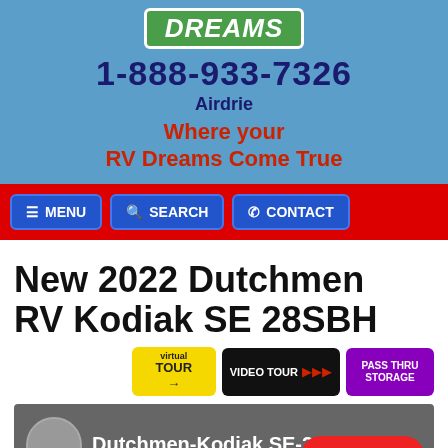DREAMS
1-888-933-7326
Airdrie
Where your RV Dreams Come True
New 2022 Dutchmen RV Kodiak SE 28SBH
[Figure (screenshot): Navigation bar with MENU, SEARCH, CONTACT buttons on red background]
[Figure (screenshot): Virtual Tour, Video Tour, Pass Thru Storage buttons]
[Figure (screenshot): Video thumbnail showing Dutchmen-Kodiak SE-28SBH with circular image and Text us button]